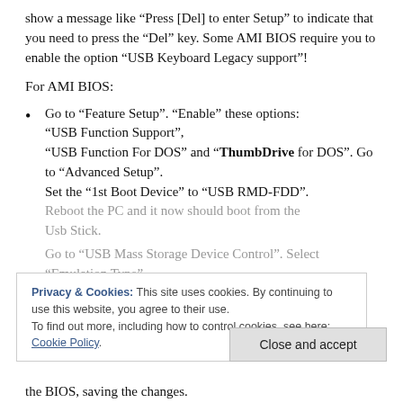show a message like “Press [Del] to enter Setup” to indicate that you need to press the “Del” key. Some AMI BIOS require you to enable the option “USB Keyboard Legacy support”!
For AMI BIOS:
Go to “Feature Setup”. “Enable” these options: “USB Function Support”, “USB Function For DOS” and “ThumbDrive” for DOS”. Go to “Advanced Setup”. Set the “1st Boot Device” to “USB RMD-FDD”. Reboot the PC and it now should boot from the Usb Stick.
Go to “USB Mass Storage Device Control”. Select “Emulation Type” and set it to “Harddisk”. Go to the “Boot Menu” and set the “1st boot device” to “USB-Stick”. Exit the BIOS, saving the changes.
Privacy & Cookies: This site uses cookies. By continuing to use this website, you agree to their use.
To find out more, including how to control cookies, see here: Cookie Policy.